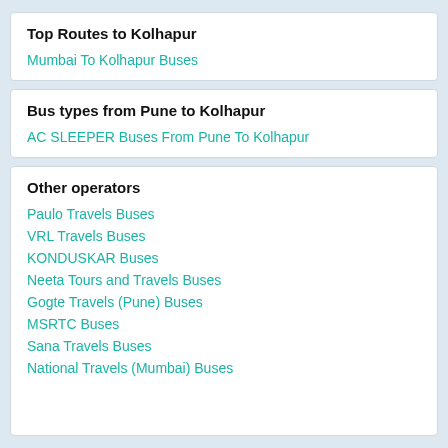Top Routes to Kolhapur
Mumbai To Kolhapur Buses
Bus types from Pune to Kolhapur
AC SLEEPER Buses From Pune To Kolhapur
Other operators
Paulo Travels Buses
VRL Travels Buses
KONDUSKAR Buses
Neeta Tours and Travels Buses
Gogte Travels (Pune) Buses
MSRTC Buses
Sana Travels Buses
National Travels (Mumbai) Buses